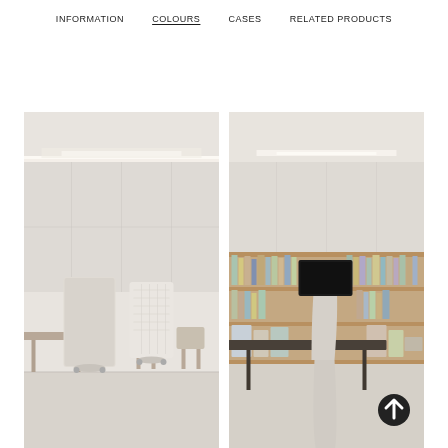INFORMATION  COLOURS  CASES  RELATED PRODUCTS
[Figure (photo): Interior room with white walls and soft lighting, two white freestanding mobile display/whiteboard units on casters, minimalist furniture in background]
[Figure (photo): Interior room with white walls, wooden shelving with books and objects, a white mobile stand unit with a large black monitor screen mounted, dark table in foreground, scroll-to-top button overlay]